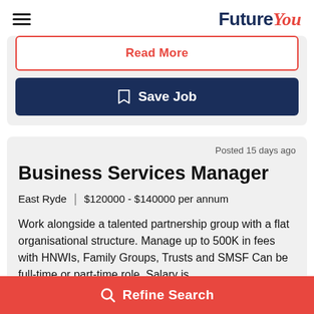FutureYou
Read More
Save Job
Posted 15 days ago
Business Services Manager
East Ryde | $120000 - $140000 per annum
Work alongside a talented partnership group with a flat organisational structure. Manage up to 500K in fees with HNWIs, Family Groups, Trusts and SMSF Can be full-time or part-time role. Salary is
Refine Search